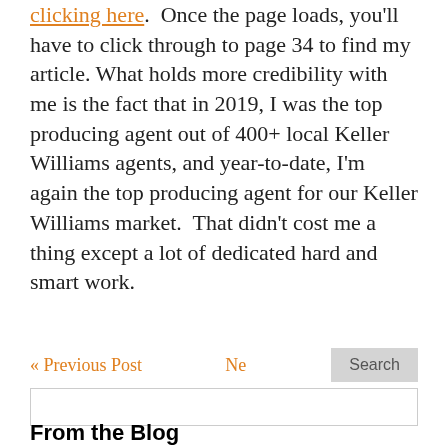clicking here.  Once the page loads, you'll have to click through to page 34 to find my article.  What holds more credibility with me is the fact that in 2019, I was the top producing agent out of 400+ local Keller Williams agents, and year-to-date, I'm again the top producing agent for our Keller Williams market.  That didn't cost me a thing except a lot of dedicated hard and smart work.
« Previous Post   Next Post »   Search
From the Blog